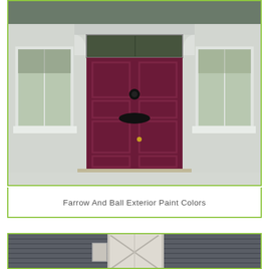[Figure (photo): Photograph of a house entrance with a dark burgundy/wine-colored paneled front door, white corbels supporting a porch overhang, white-framed sash windows on either side, and light grey rendered exterior walls. A transom window above the door shows greenery behind it.]
Farrow And Ball Exterior Paint Colors
[Figure (photo): Partial photograph showing a house exterior with dark grey horizontal lap siding and a white-painted board-and-batten or cross-braced door/shutter panel visible at center.]